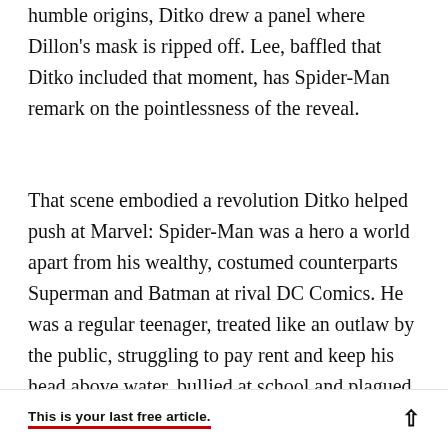humble origins, Ditko drew a panel where Dillon's mask is ripped off. Lee, baffled that Ditko included that moment, has Spider-Man remark on the pointlessness of the reveal.
That scene embodied a revolution Ditko helped push at Marvel: Spider-Man was a hero a world apart from his wealthy, costumed counterparts Superman and Batman at rival DC Comics. He was a regular teenager, treated like an outlaw by the public, struggling to pay rent and keep his head above water, bullied at school and plagued by bad luck. Even catching and unmasking a bad guy like Fl...
This is your last free article.